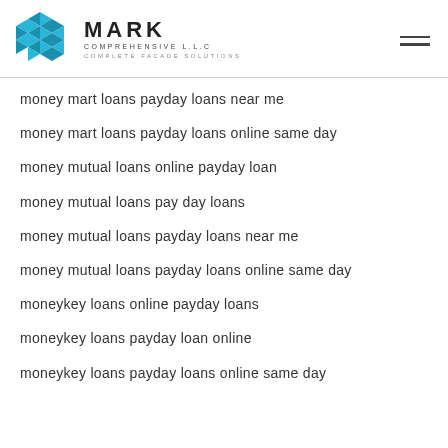MARK COMPREHENSIVE L.L.C — COMPLETE FACADE SOLUTIONS
money mart loans payday loans near me
money mart loans payday loans online same day
money mutual loans online payday loan
money mutual loans pay day loans
money mutual loans payday loans near me
money mutual loans payday loans online same day
moneykey loans online payday loans
moneykey loans payday loan online
moneykey loans payday loans online same day